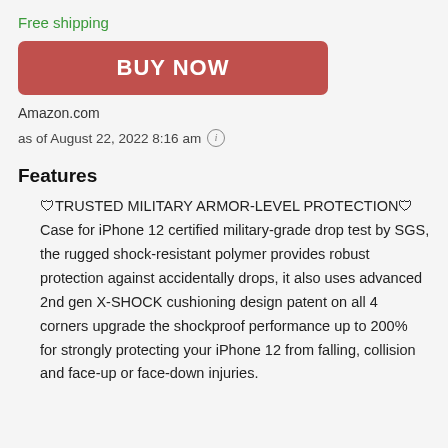Free shipping
BUY NOW
Amazon.com
as of August 22, 2022 8:16 am ℹ
Features
🛡TRUSTED MILITARY ARMOR-LEVEL PROTECTION🛡 Case for iPhone 12 certified military-grade drop test by SGS, the rugged shock-resistant polymer provides robust protection against accidentally drops, it also uses advanced 2nd gen X-SHOCK cushioning design patent on all 4 corners upgrade the shockproof performance up to 200%  for strongly protecting your iPhone 12 from falling, collision and face-up or face-down injuries.